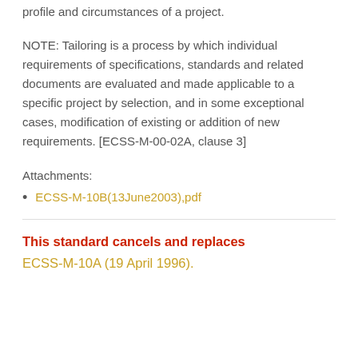profile and circumstances of a project.
NOTE: Tailoring is a process by which individual requirements of specifications, standards and related documents are evaluated and made applicable to a specific project by selection, and in some exceptional cases, modification of existing or addition of new requirements. [ECSS-M-00-02A, clause 3]
Attachments:
ECSS-M-10B(13June2003).pdf
This standard cancels and replaces ECSS-M-10A (19 April 1996).